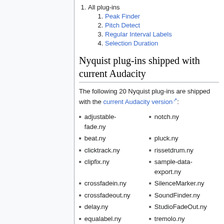1. All plug-ins
1. Peak Finder
2. Pitch Detect
3. Regular Interval Labels
4. Selection Duration
Nyquist plug-ins shipped with current Audacity
The following 20 Nyquist plug-ins are shipped with the current Audacity version:
adjustable-fade.ny
notch.ny
beat.ny
pluck.ny
clicktrack.ny
rissetdrum.ny
clipfix.ny
sample-data-export.ny
crossfadein.ny
SilenceMarker.ny
crossfadeout.ny
SoundFinder.ny
delay.ny
StudioFadeOut.ny
equalabel.ny
tremolo.ny
highpass.ny
vocalremover.ny